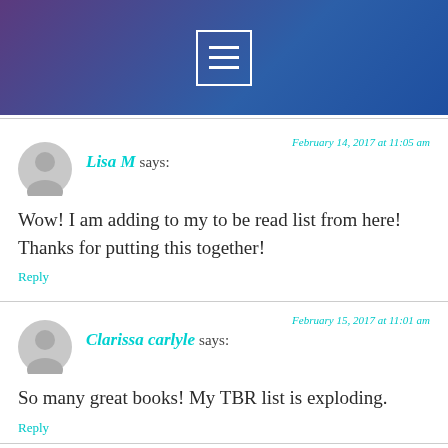[Figure (other): Website header bar with gradient purple-to-blue background and hamburger menu icon (three horizontal lines in a white rectangle border)]
Lisa M says:
February 14, 2017 at 11:05 am
Wow! I am adding to my to be read list from here! Thanks for putting this together!
Reply
Clarissa carlyle says:
February 15, 2017 at 11:01 am
So many great books! My TBR list is exploding.
Reply